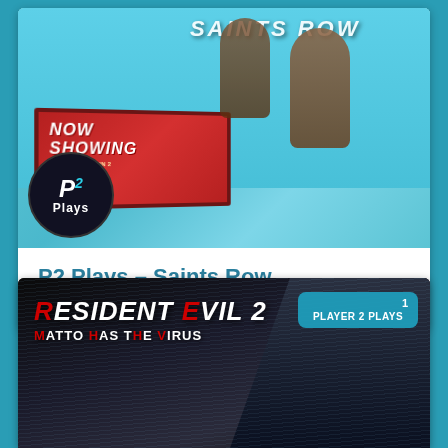[Figure (screenshot): Saints Row video game promotional image showing characters on a theater rooftop, with 'NOW SHOWING' theater sign and P2 Plays logo overlay. Sky blue background.]
P2 Plays – Saints Row
READ MORE »
[Figure (screenshot): Resident Evil 2 game promotional image with title 'RESIDENT EVIL 2 MATTO HAS THE VIRUS' in red/white text, dark rainy background with character silhouette, and 'PLAYER 2 PLAYS' badge with number 1 in top right corner.]